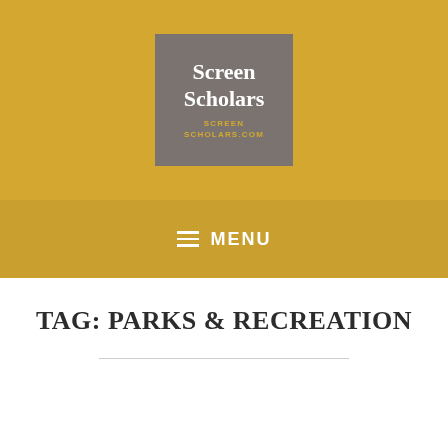[Figure (logo): Screen Scholars logo: gray square with white serif text 'Screen Scholars' and gold URL text 'SCREENSCHOLARS.COM', on a golden yellow background]
≡ MENU
TAG: PARKS & RECREATION